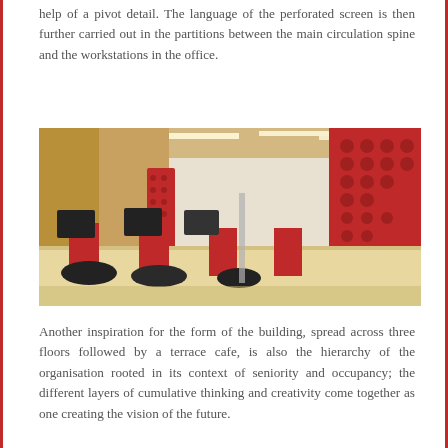help of a pivot detail. The language of the perforated screen is then further carried out in the partitions between the main circulation spine and the workstations in the office.
[Figure (photo): Interior photo of a modern office space showing workstations with red partition screens, red perforated wall panels in the background, linear ceiling lights, and a long desk with computers and office chairs.]
Another inspiration for the form of the building, spread across three floors followed by a terrace cafe, is also the hierarchy of the organisation rooted in its context of seniority and occupancy; the different layers of cumulative thinking and creativity come together as one creating the vision of the future.